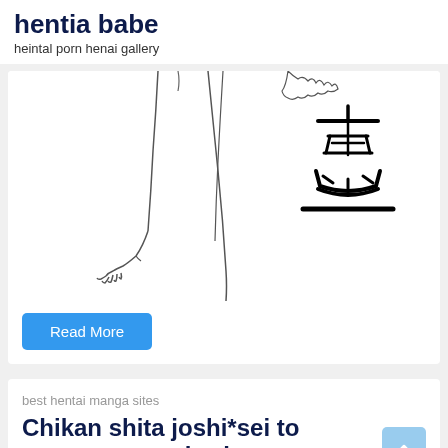hentia babe
heintal porn henai gallery
[Figure (illustration): Line art illustration of anime character showing legs/feet with Japanese kanji characters (盛) handwritten in bold strokes on the right side]
Read More
best hentai manga sites
Chikan shita joshi*sei to sonogo, musabori au youna